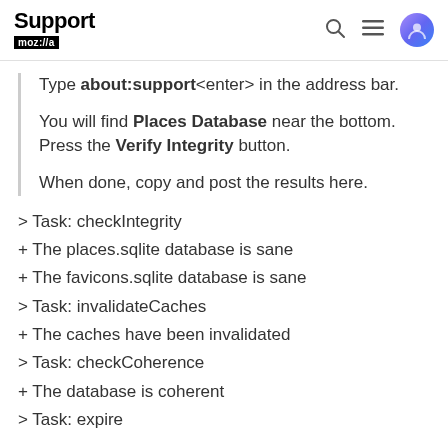Support mozilla | [search] [menu] [avatar]
Type about:support<enter> in the address bar.
You will find Places Database near the bottom. Press the Verify Integrity button.
When done, copy and post the results here.
> Task: checkIntegrity
+ The places.sqlite database is sane
+ The favicons.sqlite database is sane
> Task: invalidateCaches
+ The caches have been invalidated
> Task: checkCoherence
+ The database is coherent
> Task: expire